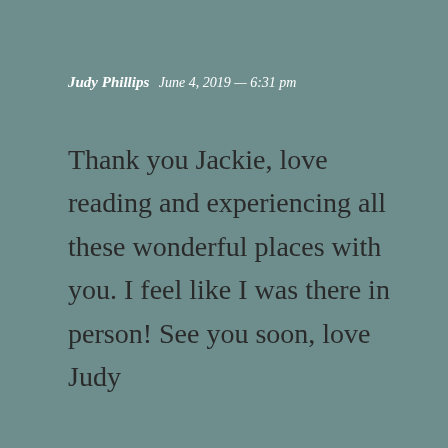Judy Phillips  June 4, 2019 — 6:31 pm
Thank you Jackie, love reading and experiencing all these wonderful places with you. I feel like I was there in person! See you soon, love Judy